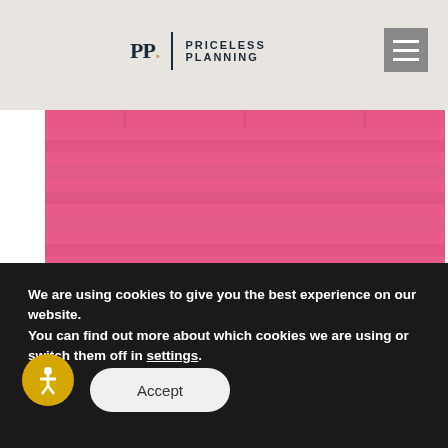PP. PRICELESS PLANNING
[Figure (photo): A smiling Black woman with short hair, wearing a black and white checkered top, laughing against a pink brick wall background]
We are using cookies to give you the best experience on our website.
You can find out more about which cookies we are using or switch them off in settings.
Accept